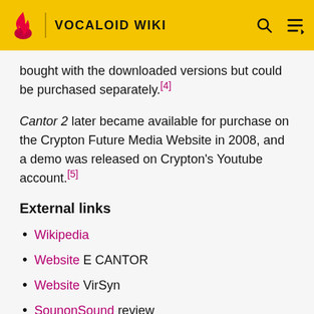VOCALOID WIKI
bought with the downloaded versions but could be purchased separately.[4]
Cantor 2 later became available for purchase on the Crypton Future Media Website in 2008, and a demo was released on Crypton's Youtube account.[5]
External links
Wikipedia
Website E CANTOR
Website VirSyn
SounonSound review
Product page Crypton Future Media